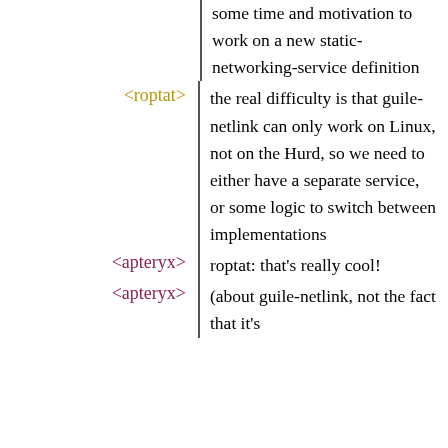some time and motivation to work on a new static-networking-service definition
<roptat> the real difficulty is that guile-netlink can only work on Linux, not on the Hurd, so we need to either have a separate service, or some logic to switch between implementations
<apteryx> roptat: that's really cool!
<apteryx> (about guile-netlink, not the fact that it's